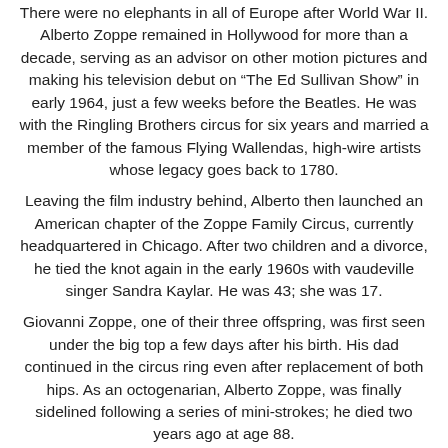There were no elephants in all of Europe after World War II. Alberto Zoppe remained in Hollywood for more than a decade, serving as an advisor on other motion pictures and making his television debut on “The Ed Sullivan Show” in early 1964, just a few weeks before the Beatles. He was with the Ringling Brothers circus for six years and married a member of the famous Flying Wallendas, high-wire artists whose legacy goes back to 1780. Leaving the film industry behind, Alberto then launched an American chapter of the Zoppe Family Circus, currently headquartered in Chicago. After two children and a divorce, he tied the knot again in the early 1960s with vaudeville singer Sandra Kaylar. He was 43; she was 17. Giovanni Zoppe, one of their three offspring, was first seen under the big top a few days after his birth. His dad continued in the circus ring even after replacement of both hips. As an octogenarian, Alberto Zoppe, was finally sidelined following a series of mini-strokes; he died two years ago at age 88. During the show’s run at Technology Park in South Burlington, the Zoppe Family Circus will strut its stuff in a 600-seat tent. “It was designed by my father and has a